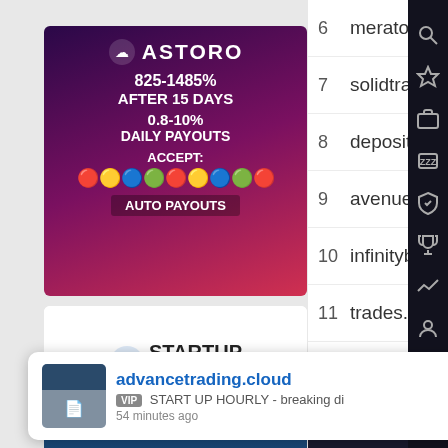[Figure (screenshot): ASTORO investment platform advertisement banner - purple/red gradient background showing 825-1485% after 15 days, 0.8-10% daily payouts, accepts crypto, auto payouts]
[Figure (screenshot): STARTUP HOURLY advertisement banner - white top with blue dollar logo and text, dark blue bottom section with coins]
[Figure (screenshot): HYIP Templates advertisement banner - dark blue/black background with HYIP Templates logo]
| # | Name |  | Amount |
| --- | --- | --- | --- |
| 6 | meraton.cc | ▼ | $9 810 |
| 7 | solidtradebank.com | ▼ | $8 754 |
| 8 | deposit.legal | ▲ | $5 002 |
| 9 | avenue7.io | ▲ | $4 778 |
| 10 | infinitybet.io | ▲ | $3 600 |
| 11 | trades.ac | ▼ | $2 770 |
| 12 | henbbo.ventures | ▲ | $2 745 |
All projects and deposits
[Figure (screenshot): Two dark banner advertisements stacked - teal/dark blue top banner and dark red/orange bottom banner]
[Figure (screenshot): Dark bottom bar area with navigation icons]
advancetrading.cloud
VIP START UP HOURLY - breaking di
54 minutes ago